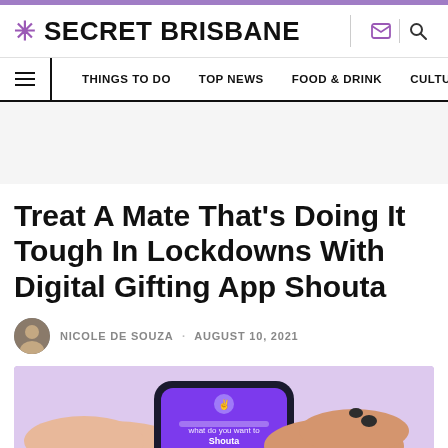SECRET BRISBANE
THINGS TO DO · TOP NEWS · FOOD & DRINK · CULTURE
Treat A Mate That's Doing It Tough In Lockdowns With Digital Gifting App Shouta
NICOLE DE SOUZA · AUGUST 10, 2021
[Figure (photo): Hands holding a smartphone displaying the Shouta digital gifting app with purple interface]